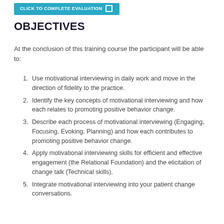CLICK TO COMPLETE EVALUATION
OBJECTIVES
At the conclusion of this training course the participant will be able to:
Use motivational interviewing in daily work and move in the direction of fidelity to the practice.
Identify the key concepts of motivational interviewing and how each relates to promoting positive behavior change.
Describe each process of motivational interviewing (Engaging, Focusing, Evoking, Planning) and how each contributes to promoting positive behavior change.
Apply motivational interviewing skills for efficient and effective engagement (the Relational Foundation) and the elicitation of change talk (Technical skills).
Integrate motivational interviewing into your patient change conversations.